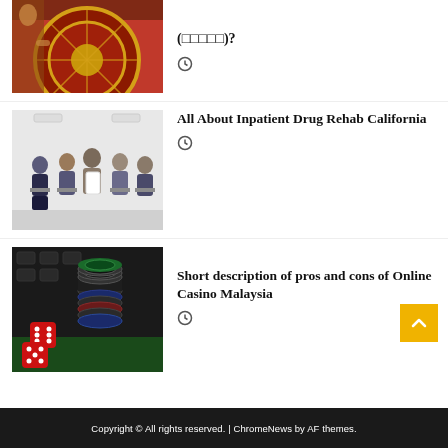[Figure (photo): Roulette wheel with orange/red colors, partially cropped at top]
(□□□□□)?
[Figure (photo): Group therapy session with people sitting in chairs in a circle in a white room]
All About Inpatient Drug Rehab California
[Figure (photo): Casino chips and red dice on a dark background]
Short description of pros and cons of Online Casino Malaysia
Copyright © All rights reserved. | ChromeNews by AF themes.